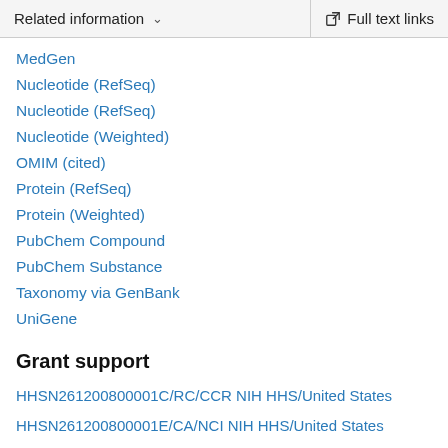Related information   Full text links
MedGen
Nucleotide (RefSeq)
Nucleotide (RefSeq)
Nucleotide (Weighted)
OMIM (cited)
Protein (RefSeq)
Protein (Weighted)
PubChem Compound
PubChem Substance
Taxonomy via GenBank
UniGene
Grant support
HHSN261200800001C/RC/CCR NIH HHS/United States
HHSN261200800001E/CA/NCI NIH HHS/United States